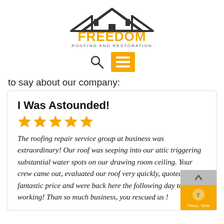[Figure (logo): Freedom Roofing and Restoration logo with house/rooftop icon above text FREEDOM in orange, ROOFING AND RESTORATION in dark gray below]
[Figure (other): Navigation bar with search icon and orange hamburger menu button]
to say about our company:
I Was Astounded!
[Figure (other): Five orange star rating icons]
The roofing repair service group at business was extraordinary! Our roof was seeping into our attic triggering substantial water spots on our drawing room ceiling. Your crew came out, evaluated our roof very quickly, quoted us a fantastic price and were back here the following day to start working! Thank so much business, you rescued us !